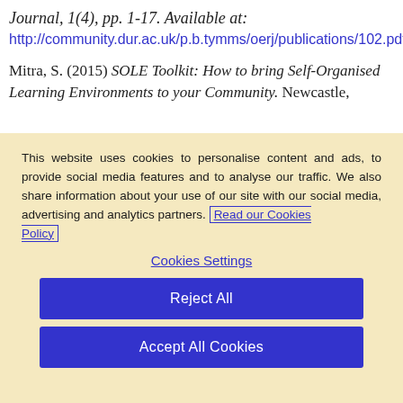Journal, 1(4), pp. 1-17. Available at:
http://community.dur.ac.uk/p.b.tymms/oerj/publications/102.pdf.
Mitra, S. (2015) SOLE Toolkit: How to bring Self-Organised Learning Environments to your Community. Newcastle,
This website uses cookies to personalise content and ads, to provide social media features and to analyse our traffic. We also share information about your use of our site with our social media, advertising and analytics partners. Read our Cookies Policy
Cookies Settings
Reject All
Accept All Cookies